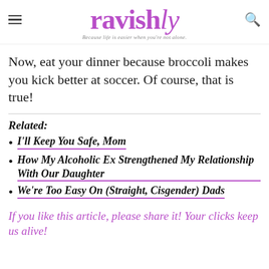ravishly — Because life is easier when you're not alone.
Now, eat your dinner because broccoli makes you kick better at soccer. Of course, that is true!
Related:
I'll Keep You Safe, Mom
How My Alcoholic Ex Strengthened My Relationship With Our Daughter
We're Too Easy On (Straight, Cisgender) Dads
If you like this article, please share it! Your clicks keep us alive!